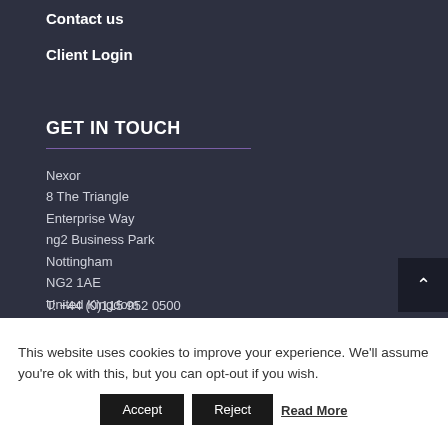Contact us
Client Login
GET IN TOUCH
Nexor
8 The Triangle
Enterprise Way
ng2 Business Park
Nottingham
NG2 1AE
United Kingdom
T: +44 (0)115 952 0500
This website uses cookies to improve your experience. We'll assume you're ok with this, but you can opt-out if you wish.
Accept
Reject
Read More